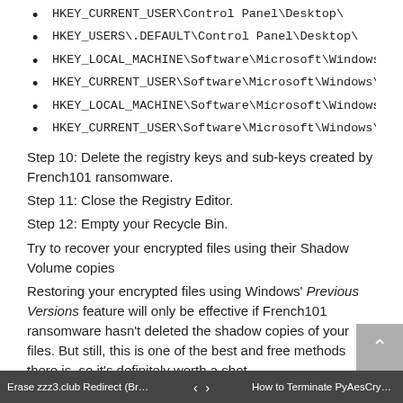HKEY_CURRENT_USER\Control Panel\Desktop\
HKEY_USERS\.DEFAULT\Control Panel\Desktop\
HKEY_LOCAL_MACHINE\Software\Microsoft\Windows\
HKEY_CURRENT_USER\Software\Microsoft\Windows\C
HKEY_LOCAL_MACHINE\Software\Microsoft\Windows\
HKEY_CURRENT_USER\Software\Microsoft\Windows\C
Step 10: Delete the registry keys and sub-keys created by French101 ransomware.
Step 11: Close the Registry Editor.
Step 12: Empty your Recycle Bin.
Try to recover your encrypted files using their Shadow Volume copies
Restoring your encrypted files using Windows' Previous Versions feature will only be effective if French101 ransomware hasn't deleted the shadow copies of your files. But still, this is one of the best and free methods there is, so it's definitely worth a shot.
To restore the encrypted file, right-click on it and select Properties, a new window will pop-up, then proceed to Previous Versions. It will load the file's previous version before it was modified. After it loads, select any of the
Erase zzz3.club Redirect (Browser...    ‹  ›  How to Terminate PyAesCrypt Ran...